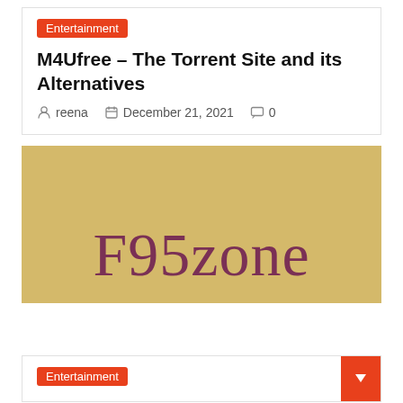Entertainment
M4Ufree – The Torrent Site and its Alternatives
reena   December 21, 2021   0
[Figure (logo): F95zone logo on a golden/tan background with dark maroon serif text reading 'F95zone']
Entertainment